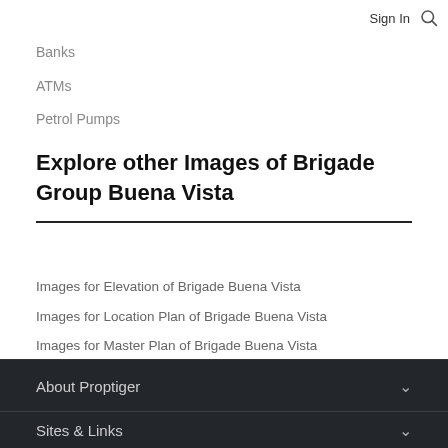Sign In
Banks
ATMs
Petrol Pumps
Explore other Images of Brigade Group Buena Vista
Images for Elevation of Brigade Buena Vista
Images for Location Plan of Brigade Buena Vista
Images for Master Plan of Brigade Buena Vista
Images for Cluster Plan of Brigade Buena Vista
Construction Linked Payment (CLP)
About Proptiger
Sites & Links